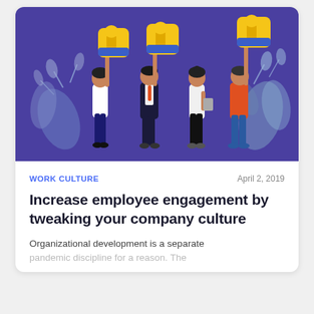[Figure (illustration): Illustration of four diverse people holding large golden thumbs-up icons against a purple background, with decorative blue-grey leaves/plants on either side. The figures include a woman in a white top, a man in a suit, a woman in a white blouse, and a man in an orange shirt.]
WORK CULTURE
April 2, 2019
Increase employee engagement by tweaking your company culture
Organizational development is a separate pandemic discipline for a reason. The